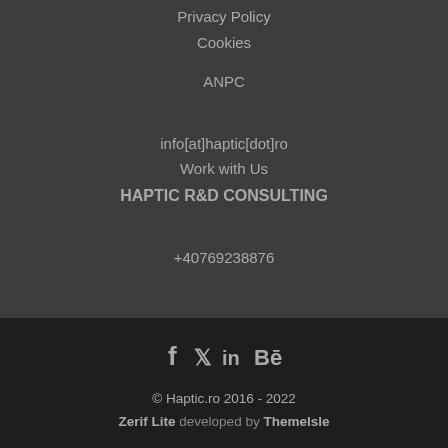Privacy Policy
Cookies
ANPC
info[at]haptic[dot]ro
Work with Us
HAPTIC R&D CONSULTING
+40769238876
[Figure (other): Social media icons: Facebook (f), Twitter (bird), LinkedIn (in), Behance (Be)]
© Haptic.ro 2016 - 2022
Zerif Lite developed by ThemeIsle